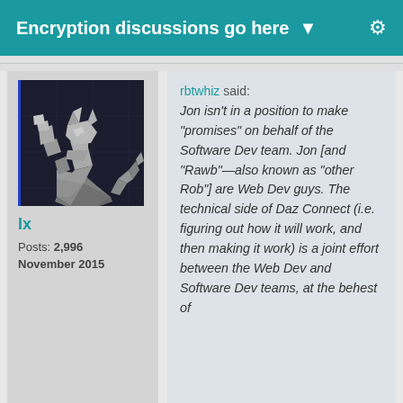Encryption discussions go here ▼
[Figure (illustration): Low-poly 3D cat avatar sitting upright on dark background]
lx
Posts: 2,996
November 2015
rbtwhiz said: Jon isn't in a position to make "promises" on behalf of the Software Dev team. Jon [and "Rawb"—also known as "other Rob"] are Web Dev guys. The technical side of Daz Connect (i.e. figuring out how it will work, and then making it work) is a joint effort between the Web Dev and Software Dev teams, at the behest of